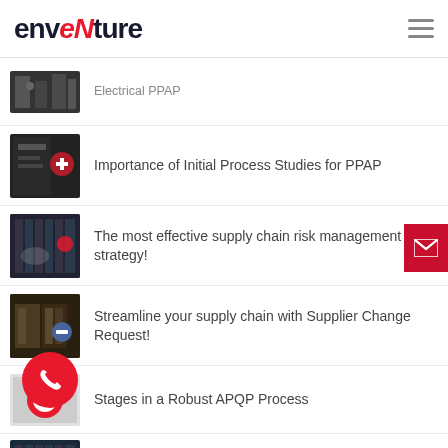[Figure (logo): Enventure logo with red stylized N]
Electrical PPAP
Importance of Initial Process Studies for PPAP
The most effective supply chain risk management strategy!
Streamline your supply chain with Supplier Change Request!
Stages in a Robust APQP Process
MRO Data Cleansing – A Must for Effective Master Data Management